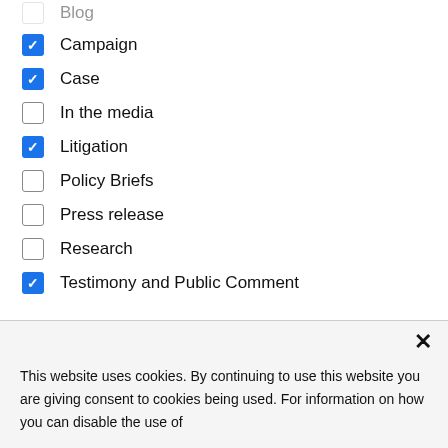Blog (partial/cut off at top)
Campaign (checked)
Case (checked)
In the media (unchecked)
Litigation (checked)
Policy Briefs (unchecked)
Press release (unchecked)
Research (unchecked)
Testimony and Public Comment (checked)
This website uses cookies. By continuing to use this website you are giving consent to cookies being used. For information on how you can disable the use of